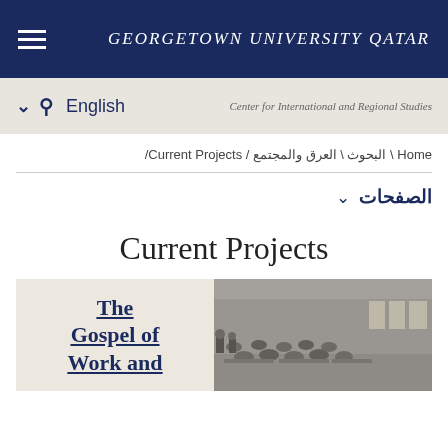GEORGETOWN UNIVERSITY QATAR
English  Center for International and Regional Studies
Home \ البحوث \ العرق والمجتمع / Current Projects/
الصفحات ∨
Current Projects
The Gospel of Work and